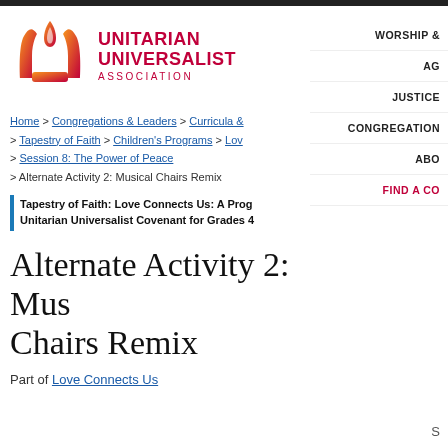[Figure (logo): Unitarian Universalist Association logo: flame icon in orange-red gradient with stylized U shape, beside text UNITARIAN UNIVERSALIST ASSOCIATION in red]
WORSHIP &
AG
JUSTICE
CONGREGATION
ABO
FIND A CO
Home > Congregations & Leaders > Curricula & > Tapestry of Faith > Children's Programs > Lov > Session 8: The Power of Peace > Alternate Activity 2: Musical Chairs Remix
Tapestry of Faith: Love Connects Us: A Prog Unitarian Universalist Covenant for Grades 4
Alternate Activity 2: Musical Chairs Remix
Part of Love Connects Us